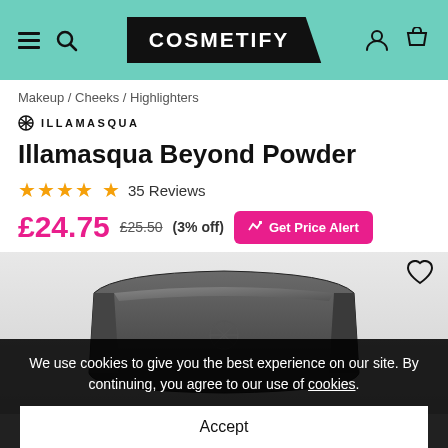COSMETIFY
Makeup / Cheeks / Highlighters
ILLAMASQUA
Illamasqua Beyond Powder
★★★★★ 35 Reviews
£24.75 £25.50 (3% off) Get Price Alert
[Figure (photo): Close-up photo of Illamasqua Beyond Powder compact, dark grey faceted container with brand logo embossed on lid]
We use cookies to give you the best experience on our site. By continuing, you agree to our use of cookies.
Accept